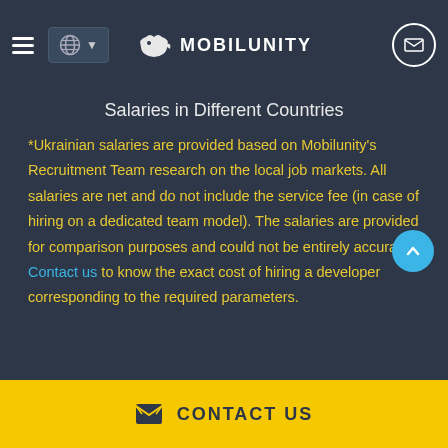MOBILUNITY — Salaries in Different Countries
Salaries in Different Countries
*Ukrainian salaries are provided based on Mobilunity's Recruitment Team research on the local job markets. All salaries are net and do not include the service fee (in case of hiring on a dedicated team model). The salaries are provided for comparison purposes and could not be entirely accurate. Contact us to know the exact cost of hiring a developer corresponding to the required parameters.
CONTACT US